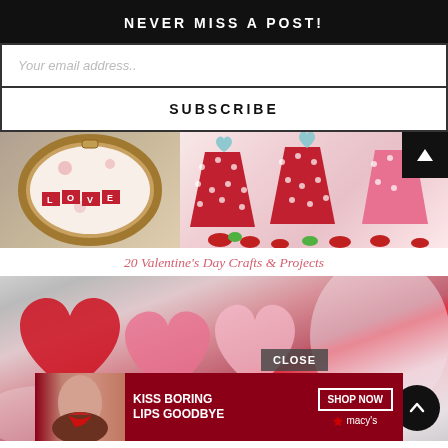NEVER MISS A POST!
Your email address..
SUBSCRIBE
[Figure (photo): Two-panel image: left shows an embroidery hoop with a 'LOVE' banner design and floral elements; right shows red and pink polka-dot paper cups/holders with candy hearts scattered around, and a heart tag. A scroll-to-top arrow button is in the top right corner.]
20 Valentine's Day Crafts & Projects
[Figure (photo): Large photo of red and pink felt heart-shaped lollipops or decorations against a soft blurred background.]
CLOSE
[Figure (photo): Macy's advertisement banner: 'KISS BORING LIPS GOODBYE' with a woman's face showing red lips, a 'SHOP NOW' button, and the Macy's star logo.]